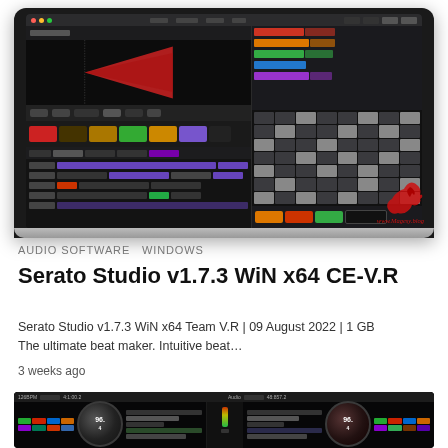[Figure (screenshot): Screenshot of Serato Studio software running on a MacBook laptop, showing the DAW interface with waveform, beat pads, colorful track rows, and a sequencer grid. Watermark reads www.Magesy.blog]
AUDIO SOFTWARE  WINDOWS
Serato Studio v1.7.3 WiN x64 CE-V.R
Serato Studio v1.7.3 WiN x64 Team V.R | 09 August 2022 | 1 GB
The ultimate beat maker. Intuitive beat…
3 weeks ago
[Figure (screenshot): Partial screenshot of Serato DJ software interface showing two DJ decks with BPM displays showing 96, colorful hot cue pads, and a mixer section in the center]